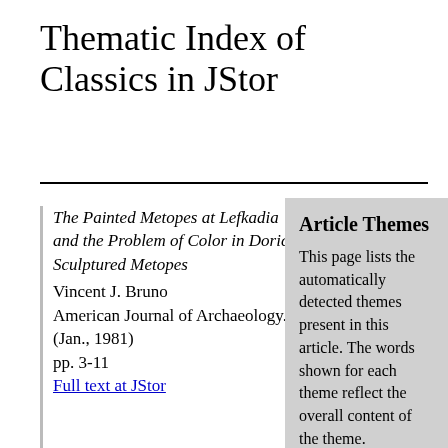Thematic Index of Classics in JStor
The Painted Metopes at Lefkadia and the Problem of Color in Doric Sculptured Metopes
Vincent J. Bruno
American Journal of Archaeology. (Jan., 1981)
pp. 3-11
Full text at JStor
Article Themes
This page lists the automatically detected themes present in this article. The words shown for each theme reflect the overall content of the theme.